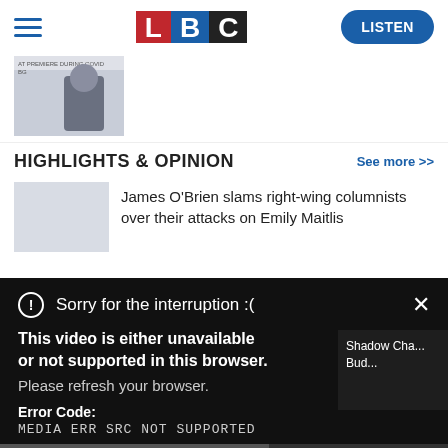[Figure (logo): LBC radio website header with hamburger menu, LBC logo (red L, blue B, black C), and blue LISTEN button]
[Figure (photo): Small thumbnail image of a person in a dark coat, with small caption text above]
HIGHLIGHTS & OPINION
See more >>
James O'Brien slams right-wing columnists over their attacks on Emily Maitlis
Sorry for the interruption :(
This video is either unavailable or not supported in this browser. Please refresh your browser.
Error Code: MEDIA ERR SRC NOT SUPPORTED
Shadow Cha... Bud...